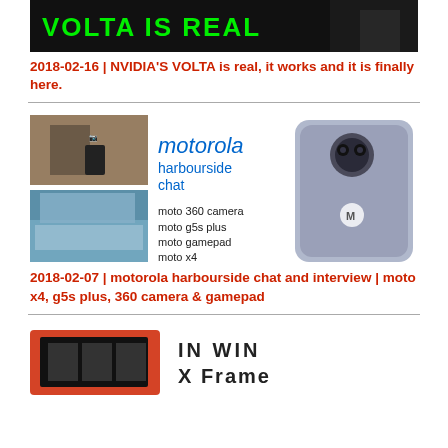[Figure (screenshot): Dark banner image with green bold text reading 'VOLTA IS REAL' on a black background with a partial figure silhouette]
2018-02-16 | NVIDIA'S VOLTA is real, it works and it is finally here.
[Figure (screenshot): Motorola harbourside chat promotional image showing two smaller photos on the left (person holding phone and waterfront building), Motorola branding in blue in center, product list (moto 360 camera, moto g5s plus, moto gamepad, moto x4), and a Motorola Moto X4 phone on the right]
2018-02-07 | motorola harbourside chat and interview | moto x4, g5s plus, 360 camera & gamepad
[Figure (screenshot): In Win X Frame PC case promotional image showing red and black open frame gaming case with In Win X Frame branding text in stylized font]